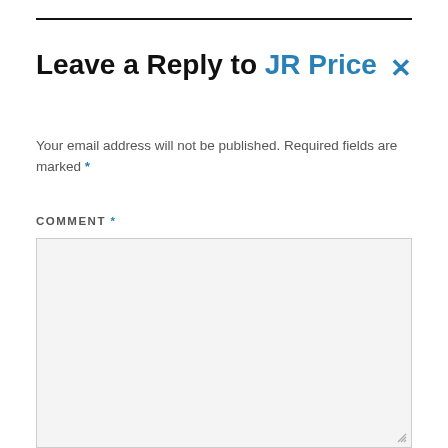Leave a Reply to JR Price ×
Your email address will not be published. Required fields are marked *
COMMENT *
[Figure (other): Empty comment text area input box with light gray background]